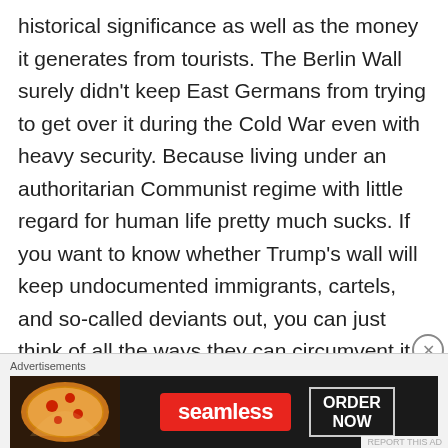historical significance as well as the money it generates from tourists. The Berlin Wall surely didn't keep East Germans from trying to get over it during the Cold War even with heavy security. Because living under an authoritarian Communist regime with little regard for human life pretty much sucks. If you want to know whether Trump's wall will keep undocumented immigrants, cartels, and so-called deviants out, you can just think of all the ways they can circumvent it, if desperate enough. They can climb over it. They can dig a tunnel under it. They can take a plane and fly over it. Or they can go around it by boat either along the Pacific or the Gulf of Mexico. Just look at the map
Advertisements
[Figure (other): Seamless food delivery advertisement banner showing pizza image on left, red Seamless logo in center, and 'ORDER NOW' button on right against dark background.]